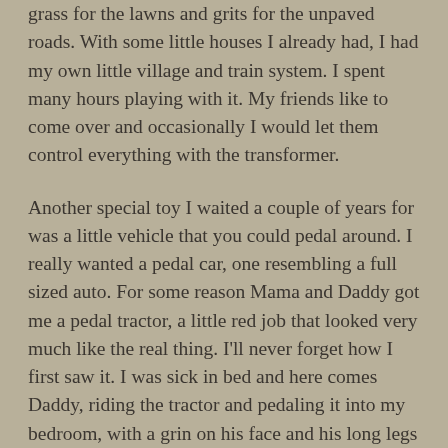grass for the lawns and grits for the unpaved roads. With some little houses I already had, I had my own little village and train system. I spent many hours playing with it. My friends like to come over and occasionally I would let them control everything with the transformer.
Another special toy I waited a couple of years for was a little vehicle that you could pedal around. I really wanted a pedal car, one resembling a full sized auto. For some reason Mama and Daddy got me a pedal tractor, a little red job that looked very much like the real thing. I'll never forget how I first saw it. I was sick in bed and here comes Daddy, riding the tractor and pedaling it into my bedroom, with a grin on his face and his long legs going up and down and splayed out like those of a grasshopper. That is a memory I will keep to my dying day.